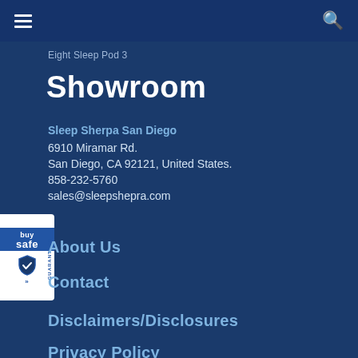Eight Sleep Pod 3
Showroom
Sleep Sherpa San Diego
6910 Miramar Rd.
San Diego, CA 92121, United States.
858-232-5760
sales@sleepshepra.com
About Us
Contact
Disclaimers/Disclosures
Privacy Policy
[Figure (logo): BuySafe Guaranteed badge/seal on left edge]